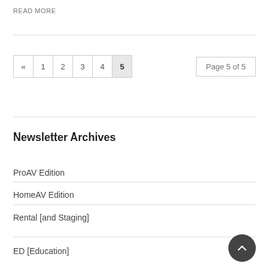READ MORE
« 1 2 3 4 5   Page 5 of 5
Newsletter Archives
ProAV Edition
HomeAV Edition
Rental [and Staging]
ED [Education]